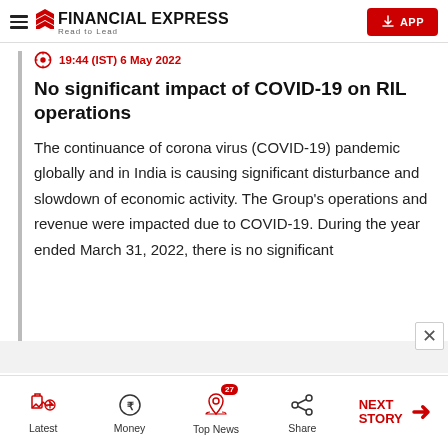FINANCIAL EXPRESS — Read to Lead | APP button
19:44 (IST) 6 May 2022
No significant impact of COVID-19 on RIL operations
The continuance of corona virus (COVID-19) pandemic globally and in India is causing significant disturbance and slowdown of economic activity. The Group's operations and revenue were impacted due to COVID-19. During the year ended March 31, 2022, there is no significant
Latest | Money | Top News (27) | Share | NEXT STORY